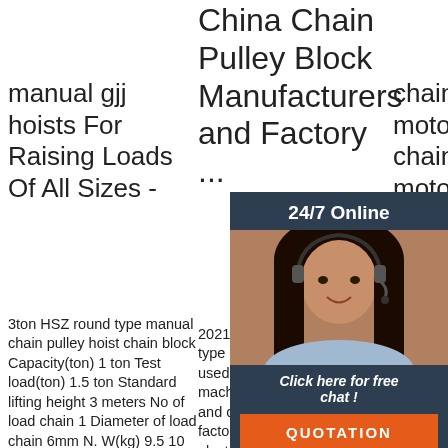manual gjj hoists For Raising Loads Of All Sizes -
3ton HSZ round type manual chain pulley hoist chain block Capacity(ton) 1 ton Test load(ton) 1.5 ton Standard lifting height 3 meters No of load chain 1 Diameter of load chain 6mm N. W(kg) 9.5 10 14 24 36 68 Workroom of
China Chain Pulley Block Manufacturers and Factory ...
2021-6-7u2002·u2002HSZ type chain hoist is a widely used manual hoisting machinery which is easy to use and carry. It can be used in factory,mine, agriculture, electricity, construction site
chain block moto chain block moto Sup and
[Figure (photo): Customer service agent (woman with headset) with dark overlay panel showing 24/7 Online, Click here for free chat!, and QUOTATION button]
Chain Chaing Block M High Quality Factory Supply 1.5T Hand Lever Chain Block Manual Pulley Chain Hoist. US $35.30-$54.30